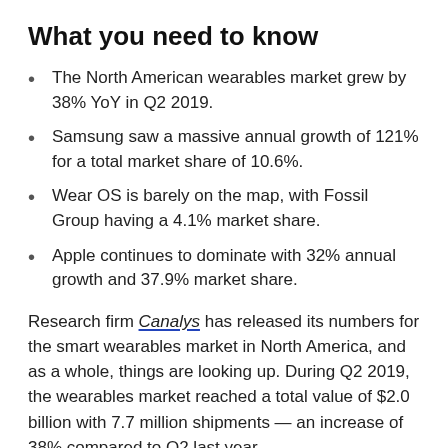What you need to know
The North American wearables market grew by 38% YoY in Q2 2019.
Samsung saw a massive annual growth of 121% for a total market share of 10.6%.
Wear OS is barely on the map, with Fossil Group having a 4.1% market share.
Apple continues to dominate with 32% annual growth and 37.9% market share.
Research firm Canalys has released its numbers for the smart wearables market in North America, and as a whole, things are looking up. During Q2 2019, the wearables market reached a total value of $2.0 billion with 7.7 million shipments — an increase of 38% compared to Q2 last year.